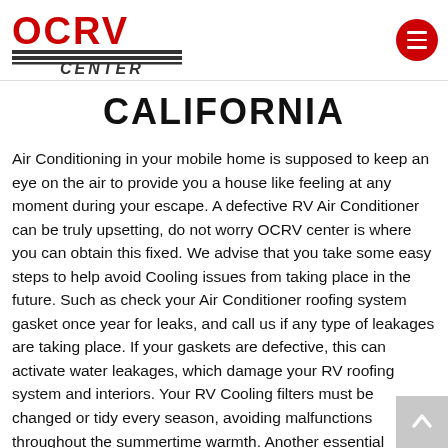OCRV CENTER
CALIFORNIA
Air Conditioning in your mobile home is supposed to keep an eye on the air to provide you a house like feeling at any moment during your escape. A defective RV Air Conditioner can be truly upsetting, do not worry OCRV center is where you can obtain this fixed. We advise that you take some easy steps to help avoid Cooling issues from taking place in the future. Such as check your Air Conditioner roofing system gasket once year for leaks, and call us if any type of leakages are taking place. If your gaskets are defective, this can activate water leakages, which damage your RV roofing system and interiors. Your RV Cooling filters must be changed or tidy every season, avoiding malfunctions throughout the summertime warmth. Another essential checkpoint is your RV generator. You have to keep an eye on it...